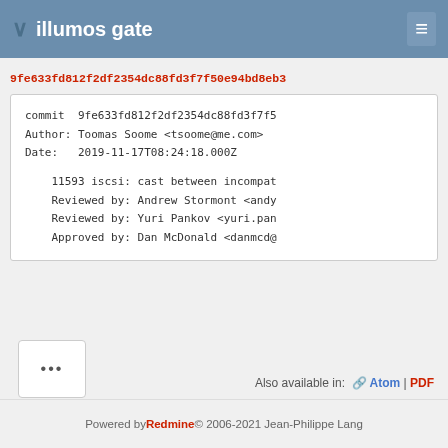illumos gate
9fe633fd812f2df2354dc88fd3f7f50e94bd8eb3
commit  9fe633fd812f2df2354dc88fd3f7f5
Author: Toomas Soome <tsoome@me.com>
Date:   2019-11-17T08:24:18.000Z

    11593 iscsi: cast between incompat
    Reviewed by: Andrew Stormont <andy
    Reviewed by: Yuri Pankov <yuri.pan
    Approved by: Dan McDonald <danmcd@
...
Also available in:  Atom | PDF
Powered by Redmine © 2006-2021 Jean-Philippe Lang